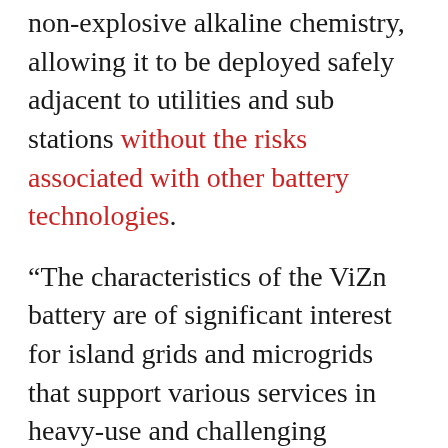non-explosive alkaline chemistry, allowing it to be deployed safely adjacent to utilities and sub stations without the risks associated with other battery technologies.
“The characteristics of the ViZn battery are of significant interest for island grids and microgrids that support various services in heavy-use and challenging environments, especially for renewable energy integration challenges,” said Kurt Myers, clean energy market area lead for INL. “We are interested in the potential for lower cost energy storage systems, with 20+ year life times and the ability to fulfill aggressive duty cycle requirements as well